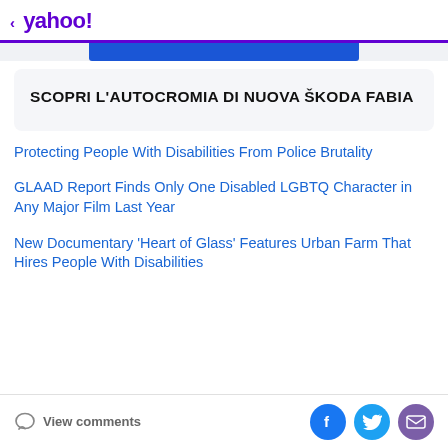< yahoo!
[Figure (other): Blue banner advertisement strip for Škoda Fabia]
SCOPRI L'AUTOCROMIA DI NUOVA ŠKODA FABIA
Protecting People With Disabilities From Police Brutality
GLAAD Report Finds Only One Disabled LGBTQ Character in Any Major Film Last Year
New Documentary 'Heart of Glass' Features Urban Farm That Hires People With Disabilities
View comments